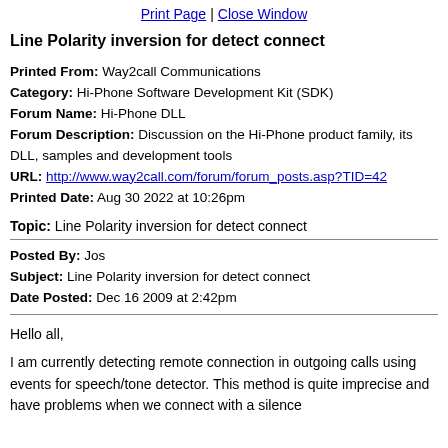Print Page | Close Window
Line Polarity inversion for detect connect
Printed From: Way2call Communications
Category: Hi-Phone Software Development Kit (SDK)
Forum Name: Hi-Phone DLL
Forum Description: Discussion on the Hi-Phone product family, its DLL, samples and development tools
URL: http://www.way2call.com/forum/forum_posts.asp?TID=42
Printed Date: Aug 30 2022 at 10:26pm
Topic: Line Polarity inversion for detect connect
Posted By: Jos
Subject: Line Polarity inversion for detect connect
Date Posted: Dec 16 2009 at 2:42pm
Hello all,
I am currently detecting remote connection in outgoing calls using events for speech/tone detector. This method is quite imprecise and have problems when we connect with a silence